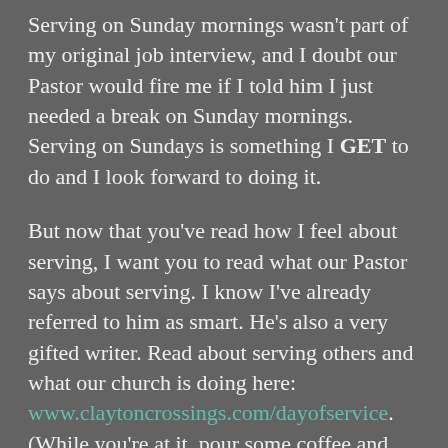Serving on Sunday mornings wasn't part of my original job interview, and I doubt our Pastor would fire me if I told him I just needed a break on Sunday mornings. Serving on Sundays is something I GET to do and I look forward to doing it.
But now that you've read how I feel about serving, I want you to read what our Pastor says about serving. I know I've already referred to him as smart. He's also a very gifted writer. Read about serving others and what our church is doing here: www.claytoncrossings.com/dayofservice. (While you're at it, pour some coffee and take time to read his other blog posts. They're pretty darn good!)